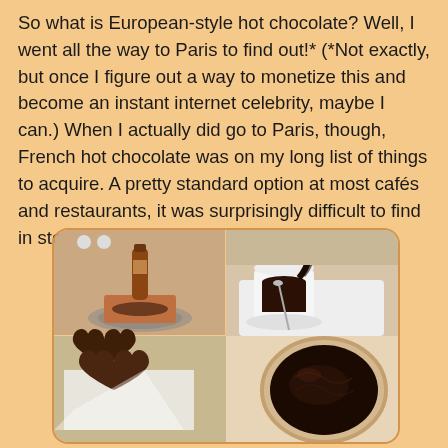So what is European-style hot chocolate? Well, I went all the way to Paris to find out!* (*Not exactly, but once I figure out a way to monetize this and become an instant internet celebrity, maybe I can.) When I actually did go to Paris, though, French hot chocolate was on my long list of things to acquire. A pretty standard option at most cafés and restaurants, it was surprisingly difficult to find in stores.
[Figure (photo): A 2x2 grid of photos showing European-style hot chocolate: top-left shows a chocolate bottle being melted in a small pot on a stovetop; top-right shows dark chocolate being poured into a white cup; bottom-left shows a heart-shaped chocolate piece on a white surface; bottom-right shows a cup of thick dark hot chocolate from above.]